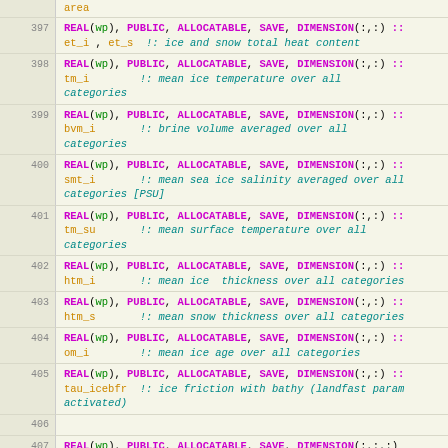area
397  REAL(wp), PUBLIC, ALLOCATABLE, SAVE, DIMENSION(:,:) :: et_i , et_s  !: ice and snow total heat content
398  REAL(wp), PUBLIC, ALLOCATABLE, SAVE, DIMENSION(:,:) :: tm_i        !: mean ice temperature over all categories
399  REAL(wp), PUBLIC, ALLOCATABLE, SAVE, DIMENSION(:,:) :: bvm_i       !: brine volume averaged over all categories
400  REAL(wp), PUBLIC, ALLOCATABLE, SAVE, DIMENSION(:,:) :: smt_i       !: mean sea ice salinity averaged over all categories [PSU]
401  REAL(wp), PUBLIC, ALLOCATABLE, SAVE, DIMENSION(:,:) :: tm_su       !: mean surface temperature over all categories
402  REAL(wp), PUBLIC, ALLOCATABLE, SAVE, DIMENSION(:,:) :: htm_i       !: mean ice  thickness over all categories
403  REAL(wp), PUBLIC, ALLOCATABLE, SAVE, DIMENSION(:,:) :: htm_s       !: mean snow thickness over all categories
404  REAL(wp), PUBLIC, ALLOCATABLE, SAVE, DIMENSION(:,:) :: om_i        !: mean ice age over all categories
405  REAL(wp), PUBLIC, ALLOCATABLE, SAVE, DIMENSION(:,:) :: tau_icebfr  !: ice friction with bathy (landfast param activated)
406
407  REAL(wp), PUBLIC, ALLOCATABLE, SAVE, DIMENSION(:,:,:)